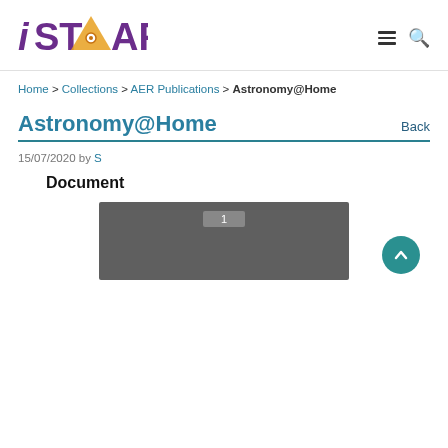[Figure (logo): iSTAR logo with triangle/star graphic and text 'International Studies of Astronomy Education Research Database']
Home > Collections > AER Publications > Astronomy@Home
Astronomy@Home
Back
15/07/2020 by S
Document
[Figure (screenshot): Document preview showing page 1 in a dark grey viewer]